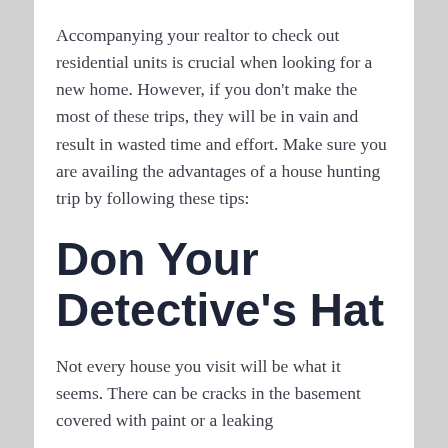Accompanying your realtor to check out residential units is crucial when looking for a new home. However, if you don't make the most of these trips, they will be in vain and result in wasted time and effort. Make sure you are availing the advantages of a house hunting trip by following these tips:
Don Your Detective's Hat
Not every house you visit will be what it seems. There can be cracks in the basement covered with paint or a leaking